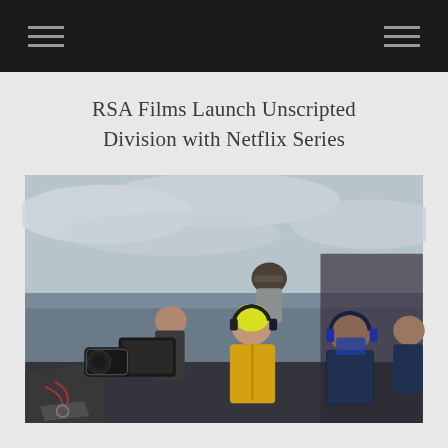RSA Films Launch Unscripted Division with Netflix Series
[Figure (photo): Film crew on a boat at sea. A man in a yellow jacket and headphones holds a camera monitor while others assist with camera equipment. The ocean and overcast sky are visible in the background. One person wears a neon yellow beanie, and another a baseball cap. People appear to be filming documentary-style footage at sea.]